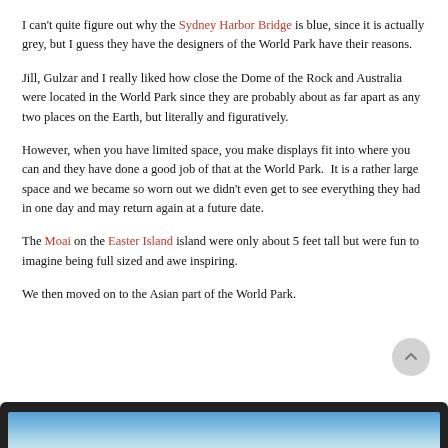I can't quite figure out why the Sydney Harbor Bridge is blue, since it is actually grey, but I guess they have the designers of the World Park have their reasons.
Jill, Gulzar and I really liked how close the Dome of the Rock and Australia were located in the World Park since they are probably about as far apart as any two places on the Earth, but literally and figuratively.
However, when you have limited space, you make displays fit into where you can and they have done a good job of that at the World Park.  It is a rather large space and we became so worn out we didn't even get to see everything they had in one day and may return again at a future date.
The Moai on the Easter Island island were only about 5 feet tall but were fun to imagine being full sized and awe inspiring.
We then moved on to the Asian part of the World Park.
[Figure (photo): Dark-framed image at bottom of page showing what appears to be a blue sky/water scene, partially visible]